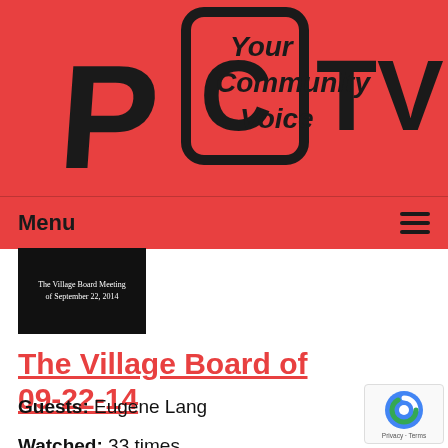[Figure (logo): PCTV logo with stylized letters P, C, TV in black on red background, with tagline 'Your Community Voice']
Menu
[Figure (screenshot): Thumbnail image showing 'The Village Board Meeting of September 22, 2014' text on black background]
The Village Board of 09-22-14
Airdate: 09/22/2014
Guests: Eugene Lang
Watched: 33 times